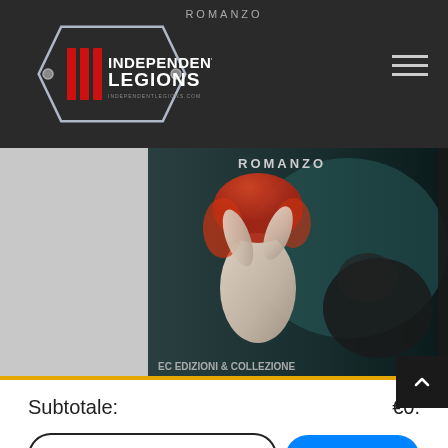[Figure (logo): Independent Legions logo — silver hexagonal badge with three red vertical bars and text INDEPENDENT LEGIONS in white on black]
[Figure (photo): Book cover showing a figure with red hair and dark atmospheric background, with text ROMANZO at top and EC Edizioni logo at bottom]
Subtotale: €0.
PAGAMENTO
Message Us